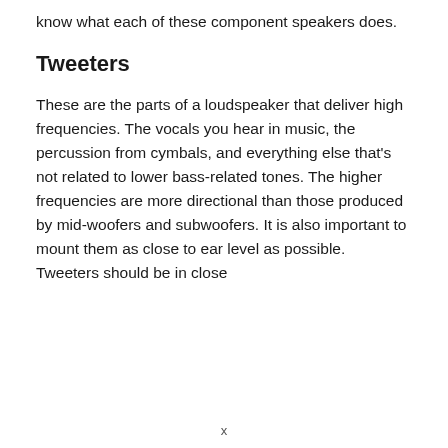know what each of these component speakers does.
Tweeters
These are the parts of a loudspeaker that deliver high frequencies. The vocals you hear in music, the percussion from cymbals, and everything else that’s not related to lower bass-related tones. The higher frequencies are more directional than those produced by mid-woofers and subwoofers. It is also important to mount them as close to ear level as possible. Tweeters should be in close